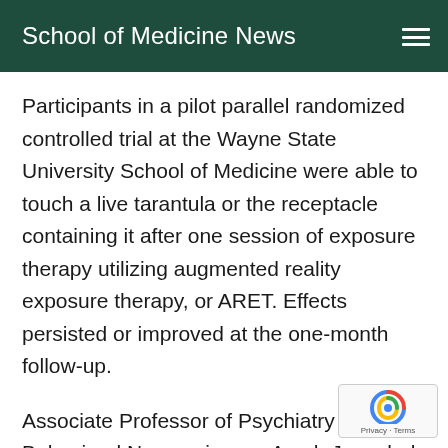School of Medicine News
Participants in a pilot parallel randomized controlled trial at the Wayne State University School of Medicine were able to touch a live tarantula or the receptacle containing it after one session of exposure therapy utilizing augmented reality exposure therapy, or ARET. Effects persisted or improved at the one-month follow-up.
Associate Professor of Psychiatry and Behavioral Neurosciences Arash Javanbak M.D., led the project, in which 25 men and